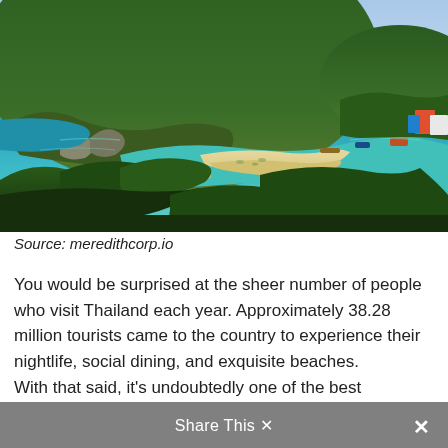[Figure (photo): Aerial view of a tropical island with lush green hills, turquoise water, sandy beach connecting two islands, with boats and resort structures visible on the right side.]
Source: meredithcorp.io
You would be surprised at the sheer number of people who visit Thailand each year. Approximately 38.28 million tourists came to the country to experience their nightlife, social dining, and exquisite beaches.
With that said, it's undoubtedly one of the best
Share This ×